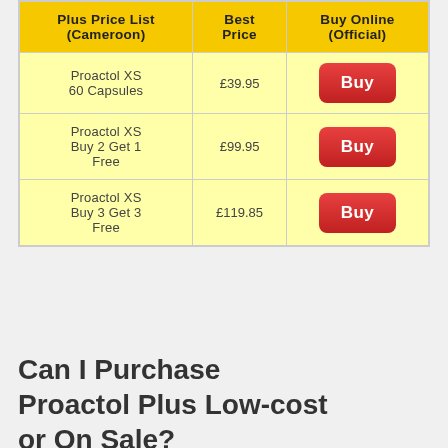| Plus Price List (Cameroon) | Best Price | Buy Online (Official) |
| --- | --- | --- |
| Proactol XS 60 Capsules | £39.95 | Buy |
| Proactol XS Buy 2 Get 1 Free | £99.95 | Buy |
| Proactol XS Buy 3 Get 3 Free | £119.85 | Buy |
Can I Purchase Proactol Plus Low-cost or On Sale?